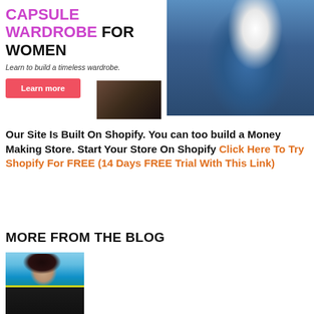[Figure (illustration): Advertisement banner for 'Capsule Wardrobe For Women' with purple and black text, tagline 'Learn to build a timeless wardrobe.', a red 'Learn more' button on the left, and a photo of a woman in a denim jacket and white shirt on the right. A smaller inset photo appears below.]
Our Site Is Built On Shopify. You can too build a Money Making Store. Start Your Store On Shopify Click Here To Try Shopify For FREE (14 Days FREE Trial With This Link)
MORE FROM THE BLOG
[Figure (photo): Photo of a woman in a black swimsuit/sports bra near a pool, cropped to show upper body]